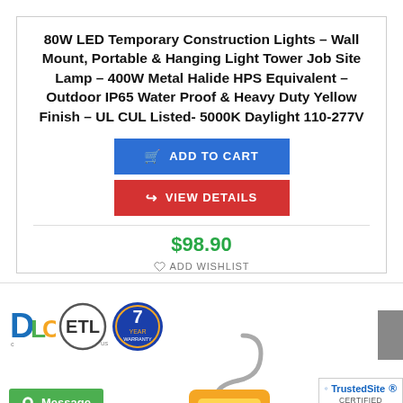80W LED Temporary Construction Lights – Wall Mount, Portable & Hanging Light Tower Job Site Lamp – 400W Metal Halide HPS Equivalent – Outdoor IP65 Water Proof & Heavy Duty Yellow Finish – UL CUL Listed- 5000K Daylight 110-277V
ADD TO CART
VIEW DETAILS
$98.90
ADD WISHLIST
[Figure (logo): DLC, ETL, and 7-year warranty certification logos]
[Figure (photo): Orange LED construction light product photo with metal hook]
Message
TrustedSite CERTIFIED SECURE